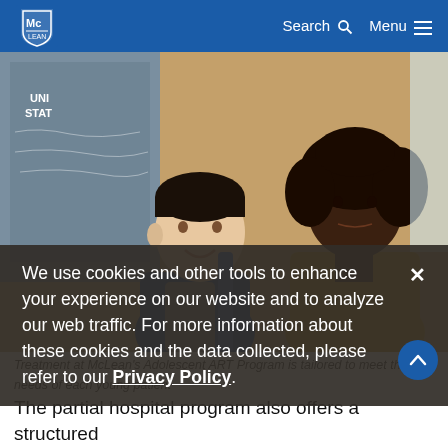McLean Hospital — Search | Menu
[Figure (photo): Two teenagers sitting together indoors — a young Asian male in a blue hoodie smiling and talking, and a young Black female in a yellow/mustard sweater listening, with a US map and framed artwork visible in background.]
Treatment at McLean's Adolescent ART Program is tailored to meet the needs of each young patient
We use cookies and other tools to enhance your experience on our website and to analyze our web traffic. For more information about these cookies and the data collected, please refer to our Privacy Policy.
The partial hospital program also offers a structured